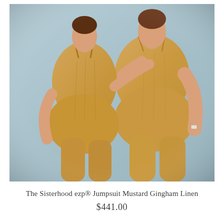[Figure (photo): Two women wearing matching mustard/tan gingham linen jumpsuits, photographed from behind against a light blue background. The women have their arms around each other. The jumpsuits are sleeveless with a fitted silhouette and wide-leg cropped pants.]
The Sisterhood ezp® Jumpsuit Mustard Gingham Linen
$441.00